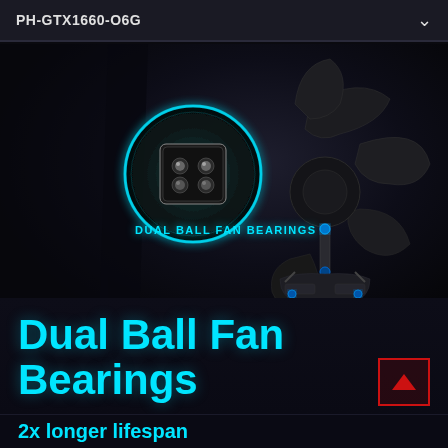PH-GTX1660-O6G
[Figure (illustration): Product feature illustration showing dual ball fan bearing: a glowing blue circular halo highlighting the fan bearing component (black square unit with 4 LED-like dots inside the circle), and an exploded-view fan blade assembly with mechanical bearing parts highlighted in blue on the right side.]
DUAL BALL FAN BEARINGS
Dual Ball Fan Bearings
2x longer lifespan